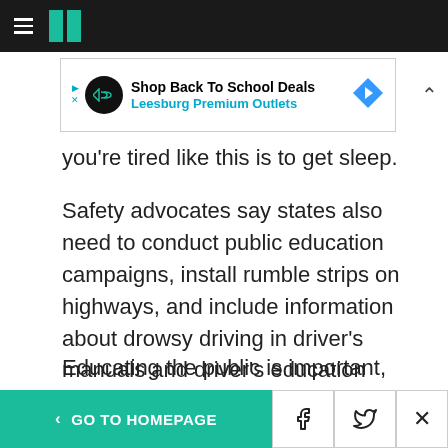HuffPost navigation bar with logo
[Figure (screenshot): Advertisement banner: Shop Back To School Deals - Leesburg Premium Outlets]
you're tired like this is to get sleep.
Safety advocates say states also need to conduct public education campaigns, install rumble strips on highways, and include information about drowsy driving in driver's manuals and driver's education classes.
Educating the public is important, said Jennifer Pearce, whose sister, Nicole Lee, was killed in a
< GO TO HOMEPAGE  [Facebook] [Twitter] [X]